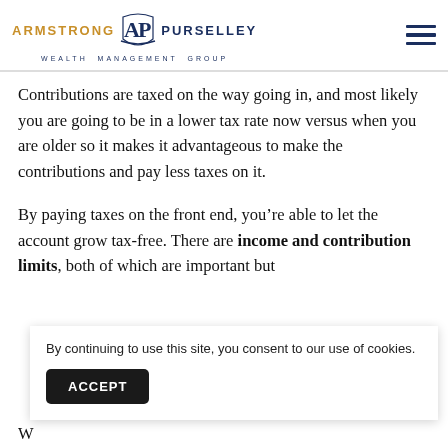ARMSTRONG AP PURSELLEY WEALTH MANAGEMENT GROUP
Contributions are taxed on the way going in, and most likely you are going to be in a lower tax rate now versus when you are older so it makes it advantageous to make the contributions and pay less taxes on it.
By paying taxes on the front end, you’re able to let the account grow tax-free. There are income and contribution limits, both of which are important but
By continuing to use this site, you consent to our use of cookies.
W